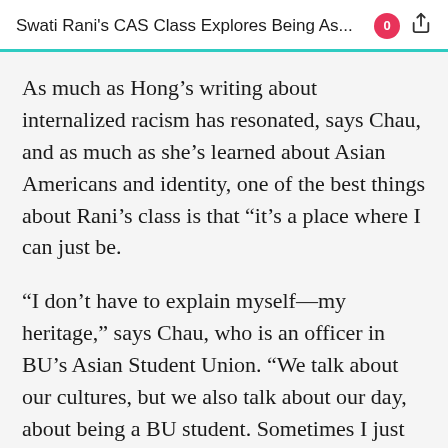Swati Rani's CAS Class Explores Being As...
As much as Hong’s writing about internalized racism has resonated, says Chau, and as much as she’s learned about Asian Americans and identity, one of the best things about Rani’s class is that “it’s a place where I can just be.
“I don’t have to explain myself—my heritage,” says Chau, who is an officer in BU’s Asian Student Union. “We talk about our cultures, but we also talk about our day, about being a BU student. Sometimes I just want to talk about a test and how hard it was.”